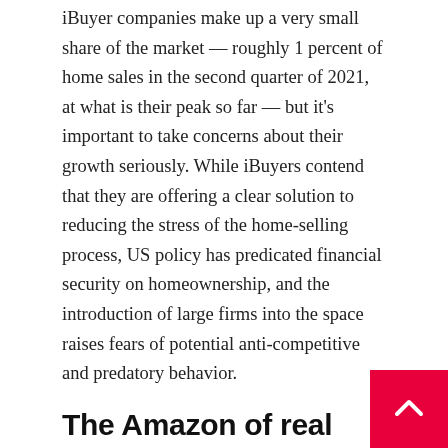iBuyer companies make up a very small share of the market — roughly 1 percent of home sales in the second quarter of 2021, at what is their peak so far — but it's important to take concerns about their growth seriously. While iBuyers contend that they are offering a clear solution to reducing the stress of the home-selling process, US policy has predicated financial security on homeownership, and the introduction of large firms into the space raises fears of potential anti-competitive and predatory behavior.
The Amazon of real estate?
The process of selling a house is stressful, to say the least. On top of the general concern —about getting the best price for the most expensive thing you have ever owned and in which you have likely already invested tens of thousands of dollars and countless hours — is all the